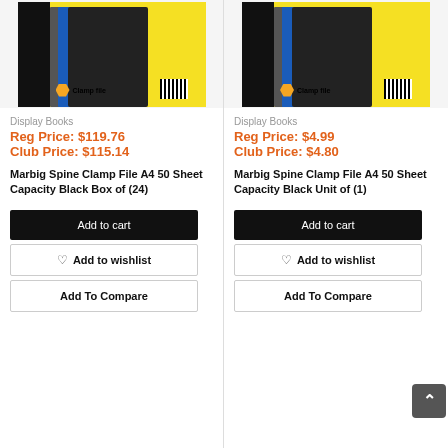[Figure (photo): Marbig Clamp File product on yellow background, box of 24]
Display Books
Reg Price: $119.76
Club Price: $115.14
Marbig Spine Clamp File A4 50 Sheet Capacity Black Box of (24)
Add to cart
Add to wishlist
Add To Compare
[Figure (photo): Marbig Clamp File product on yellow background, unit of 1]
Display Books
Reg Price: $4.99
Club Price: $4.80
Marbig Spine Clamp File A4 50 Sheet Capacity Black Unit of (1)
Add to cart
Add to wishlist
Add To Compare